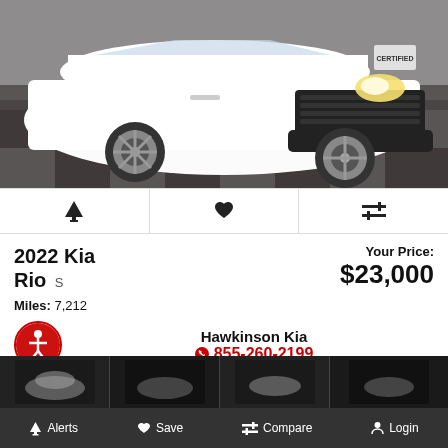[Figure (photo): White 2022 Kia Rio S parked indoors on checkered floor, front 3/4 view]
🔔  ♥  ⇌
2022 Kia Rio S
Your Price: $23,000
Miles: 7,212
Hawkinson Kia
855-260-2199
[Figure (screenshot): Bottom thumbnail strip showing next car listings]
Alerts  Save  Compare  Login